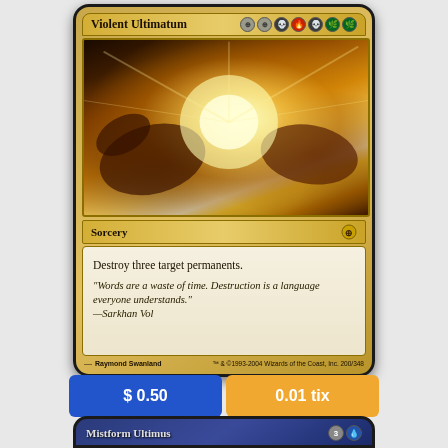[Figure (illustration): Magic: The Gathering card 'Violent Ultimatum' — a gold-bordered sorcery card showing a massive explosion of magical energy with dragons and creatures. Card text reads: 'Destroy three target permanents.' Flavor text: '"Words are a waste of time. Destruction is a language everyone understands." —Sarkhan Vol'. Artist: Raymond Swanland.]
$ 0.50
0.01 tix
[Figure (illustration): Partial view of a second Magic: The Gathering card 'Mistform Ultimus' with blue border and mana cost 3U.]